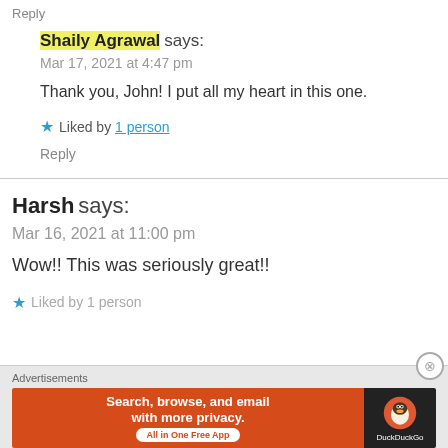Reply
Shaily Agrawal says:
Mar 17, 2021 at 4:47 pm
Thank you, John! I put all my heart in this one.
★ Liked by 1 person
Reply
Harsh says:
Mar 16, 2021 at 11:00 pm
Wow!! This was seriously great!!
★ Liked by 1 person
Advertisements
[Figure (other): DuckDuckGo advertisement banner: Search, browse, and email with more privacy. All in One Free App]